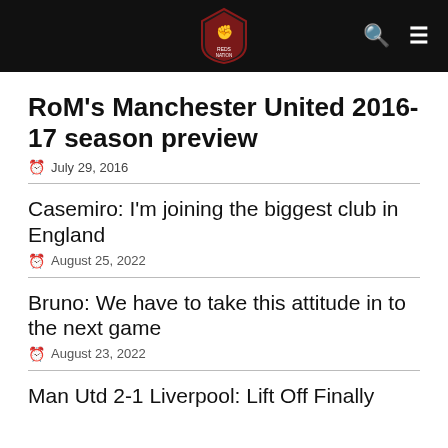Reds of Manchester – navigation header with logo, search icon, menu icon
RoM's Manchester United 2016-17 season preview
July 29, 2016
Casemiro: I'm joining the biggest club in England
August 25, 2022
Bruno: We have to take this attitude in to the next game
August 23, 2022
Man Utd 2-1 Liverpool: Lift Off Finally